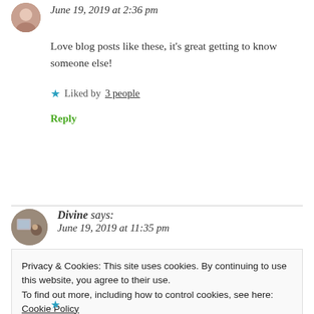June 19, 2019 at 2:36 pm
Love blog posts like these, it's great getting to know someone else!
Liked by 3 people
Reply
Divine says:
June 19, 2019 at 11:35 pm
Privacy & Cookies: This site uses cookies. By continuing to use this website, you agree to their use.
To find out more, including how to control cookies, see here: Cookie Policy
Close and accept